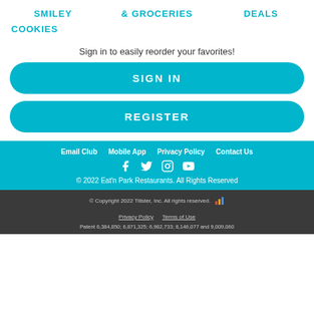SMILEY   & GROCERIES   DEALS
COOKIES
Sign in to easily reorder your favorites!
SIGN IN
REGISTER
Email Club   Mobile App   Privacy Policy   Contact Us
© 2022 Eat'n Park Restaurants. All Rights Reserved
© Copyright 2022 Tillster, Inc. All rights reserved.
Privacy Policy   Terms of Use
Patent 6,384,850; 6,871,325; 6,982,733; 8,146,077 and 9,009,060